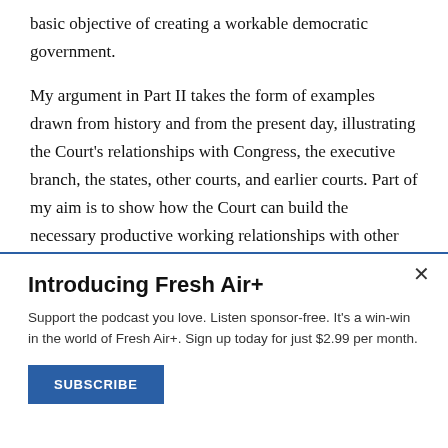basic objective of creating a workable democratic government.
My argument in Part II takes the form of examples drawn from history and from the present day, illustrating the Court's relationships with Congress, the executive branch, the states, other courts, and earlier courts. Part of my aim is to show how the Court can build the necessary productive working relationships with other institutions -- without abdicating its
Introducing Fresh Air+
Support the podcast you love. Listen sponsor-free. It's a win-win in the world of Fresh Air+. Sign up today for just $2.99 per month.
SUBSCRIBE